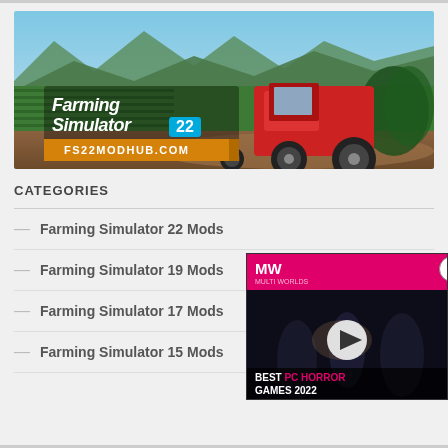[Figure (screenshot): Farming Simulator 22 promotional banner with tractor in green field, text 'Farming Simulator 22' and 'FS22MODHUB.COM']
CATEGORIES
Farming Simulator 22 Mods
Farming Simulator 19 Mods
Farming Simulator 17 Mods
Farming Simulator 15 Mods
[Figure (screenshot): Video ad popup: 'BEST PC HORROR GAMES 2022' with play button, MW logo on pink/red background, dark gaming scene]